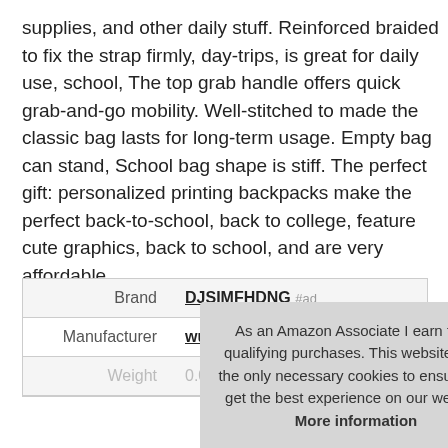supplies, and other daily stuff. Reinforced braided to fix the strap firmly, day-trips, is great for daily use, school, The top grab handle offers quick grab-and-go mobility. Well-stitched to made the classic bag lasts for long-term usage. Empty bag can stand, School bag shape is stiff. The perfect gift: personalized printing backpacks make the perfect back-to-school, back to college, feature cute graphics, back to school, and are very affordable.
| Brand | DJSIMFHDNG #ad |
| Manufacturer | wuyibing0276 #ad |
| Weight | 0.00 Pounds |
As an Amazon Associate I earn from qualifying purchases. This website uses the only necessary cookies to ensure you get the best experience on our website. More information